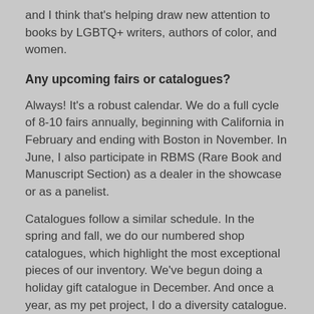and I think that's helping draw new attention to books by LGBTQ+ writers, authors of color, and women.
Any upcoming fairs or catalogues?
Always! It's a robust calendar. We do a full cycle of 8-10 fairs annually, beginning with California in February and ending with Boston in November. In June, I also participate in RBMS (Rare Book and Manuscript Section) as a dealer in the showcase or as a panelist.
Catalogues follow a similar schedule. In the spring and fall, we do our numbered shop catalogues, which highlight the most exceptional pieces of our inventory. We've begun doing a holiday gift catalogue in December. And once a year, as my pet project, I do a diversity catalogue. In 2018 (In Pursuit of Equality) and 2019 (By Her Own Hand) these focused on women's movements in the U.S. and U.K. In coming years, I'm hoping to expand the number and kinds of communities represented.